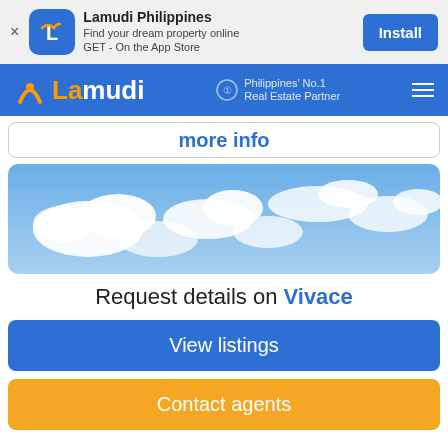[Figure (screenshot): Lamudi Philippines app install banner with orange/blue logo, app name, tagline, and Install button]
[Figure (screenshot): Lamudi Philippines navigation bar with logo, Philippines No.1 Real Estate Partner badge, and hamburger menu]
more info
[Figure (photo): Blue sky with white clouds, property listing image for Vivace]
Request details on Vivace
View listings
Contact agents